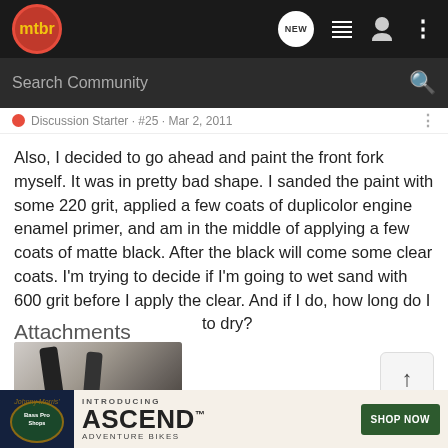[Figure (screenshot): MTBR forum website header navigation bar with logo, NEW chat icon, list icon, user icon, and dots menu icon]
[Figure (screenshot): Search Community search bar on dark background]
Discussion Starter · #25 · Mar 2, 2011
Also, I decided to go ahead and paint the front fork myself. It was in pretty bad shape. I sanded the paint with some 220 grit, applied a few coats of duplicolor engine enamel primer, and am in the middle of applying a few coats of matte black. After the black will come some clear coats. I'm trying to decide if I'm going to wet sand with 600 grit before I apply the clear. And if I do, how long do I need to wait for the black to dry?
Attachments
[Figure (photo): Photo of a bicycle front fork being painted, showing dark fork arms against a light background]
[Figure (screenshot): Bass Pro Shops advertisement banner introducing ASCEND Adventure Bikes with SHOP NOW button]